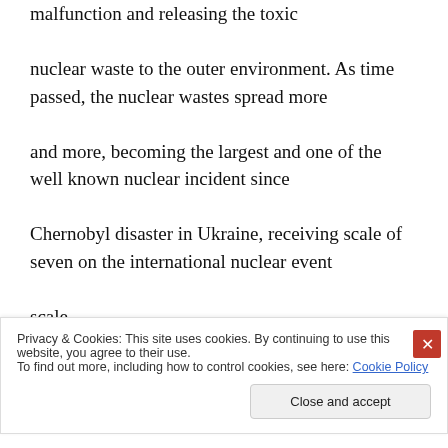malfunction and releasing the toxic nuclear waste to the outer environment. As time passed, the nuclear wastes spread more and more, becoming the largest and one of the well known nuclear incident since Chernobyl disaster in Ukraine, receiving scale of seven on the international nuclear event scale.
Privacy & Cookies: This site uses cookies. By continuing to use this website, you agree to their use.
To find out more, including how to control cookies, see here: Cookie Policy